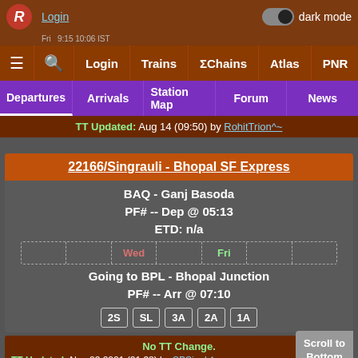Login | dark mode toggle | hamburger menu | search | Login | Trains | ΣChains | Atlas | PNR
Departures | Arrivals | Station Map | Forum | News
TT Updated: Aug 14 (09:50) by RohitTrion^~
22166/Singrauli - Bhopal SF Express
BAQ - Ganj Basoda
PF# -- Dep @ 05:13
ETD: n/a
Wed  Fri
Going to BPL - Bhopal Junction
PF# -- Arr @ 07:10
2S  SL  3A  2A  1A
No TT Change.
TT Updated: Nov 23 2021 (21:38) by SPSingh^~
Scroll to Bottom